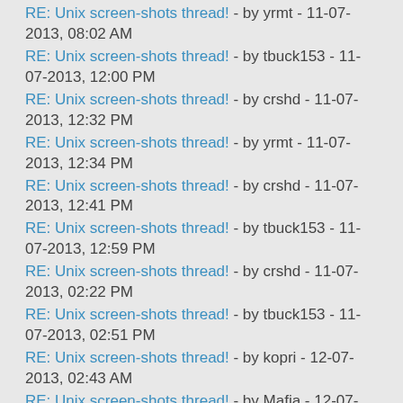RE: Unix screen-shots thread! - by yrmt - 11-07-2013, 08:02 AM
RE: Unix screen-shots thread! - by tbuck153 - 11-07-2013, 12:00 PM
RE: Unix screen-shots thread! - by crshd - 11-07-2013, 12:32 PM
RE: Unix screen-shots thread! - by yrmt - 11-07-2013, 12:34 PM
RE: Unix screen-shots thread! - by crshd - 11-07-2013, 12:41 PM
RE: Unix screen-shots thread! - by tbuck153 - 11-07-2013, 12:59 PM
RE: Unix screen-shots thread! - by crshd - 11-07-2013, 02:22 PM
RE: Unix screen-shots thread! - by tbuck153 - 11-07-2013, 02:51 PM
RE: Unix screen-shots thread! - by kopri - 12-07-2013, 02:43 AM
RE: Unix screen-shots thread! - by Mafia - 12-07-2013, 06:51 AM
RE: Unix screen-shots thread! - by berk - 12-07-2013, 07:49